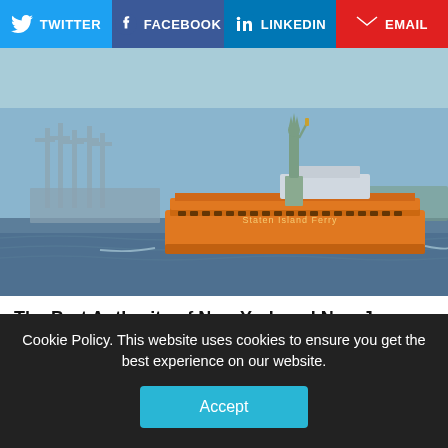TWITTER | FACEBOOK | LINKEDIN | EMAIL
[Figure (photo): Staten Island Ferry with Statue of Liberty in background, New York Harbor, industrial cranes visible on left, taken from water level on a clear day.]
The Port Authority of New York and New Jersey has confirmed its Executive Director Rick Cotton has tested positive for coronavirus and is currently in self-
Cookie Policy. This website uses cookies to ensure you get the best experience on our website.
Accept